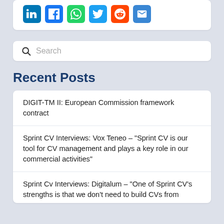[Figure (other): Social media sharing icons: LinkedIn (blue), Facebook (blue), WhatsApp (green), Twitter (blue), Reddit (orange-red), Email (blue)]
Search
Recent Posts
DIGIT-TM II: European Commission framework contract
Sprint CV Interviews: Vox Teneo – "Sprint CV is our tool for CV management and plays a key role in our commercial activities"
Sprint Cv Interviews: Digitalum – "One of Sprint CV's strengths is that we don't need to build CVs from